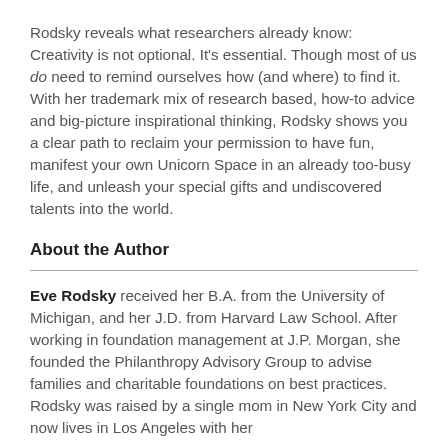Rodsky reveals what researchers already know: Creativity is not optional. It's essential. Though most of us do need to remind ourselves how (and where) to find it. With her trademark mix of research based, how-to advice and big-picture inspirational thinking, Rodsky shows you a clear path to reclaim your permission to have fun, manifest your own Unicorn Space in an already too-busy life, and unleash your special gifts and undiscovered talents into the world.
About the Author
Eve Rodsky received her B.A. from the University of Michigan, and her J.D. from Harvard Law School. After working in foundation management at J.P. Morgan, she founded the Philanthropy Advisory Group to advise families and charitable foundations on best practices. Rodsky was raised by a single mom in New York City and now lives in Los Angeles with her